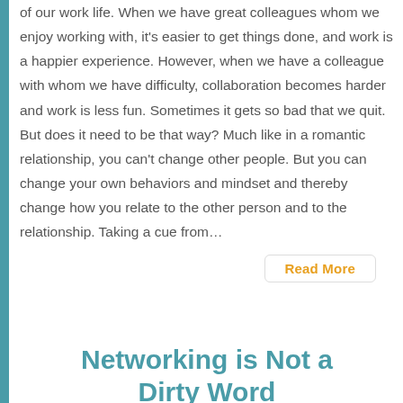of our work life. When we have great colleagues whom we enjoy working with, it's easier to get things done, and work is a happier experience. However, when we have a colleague with whom we have difficulty, collaboration becomes harder and work is less fun. Sometimes it gets so bad that we quit. But does it need to be that way? Much like in a romantic relationship, you can't change other people. But you can change your own behaviors and mindset and thereby change how you relate to the other person and to the relationship. Taking a cue from…
Read More
Networking is Not a Dirty Word